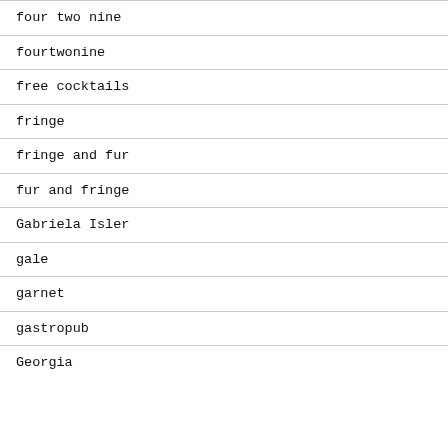four two nine
fourtwonine
free cocktails
fringe
fringe and fur
fur and fringe
Gabriela Isler
gale
garnet
gastropub
Georgia